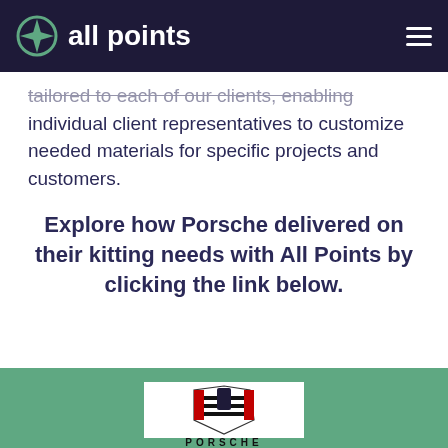all points
tailored to each of our clients, enabling individual client representatives to customize needed materials for specific projects and customers.
Explore how Porsche delivered on their kitting needs with All Points by clicking the link below.
[Figure (logo): Porsche crest logo with PORSCHE wordmark below]
Porsche Cars North America